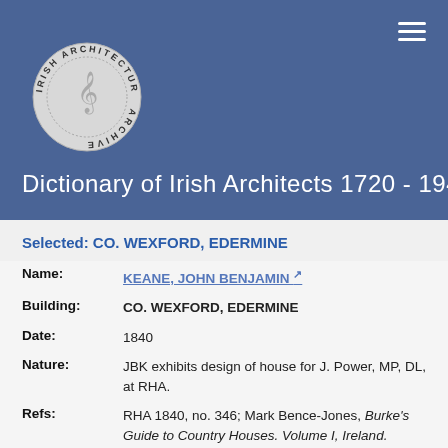[Figure (logo): Irish Architectural Archive circular logo with harp motif and text reading IRISH ARCHITECTURAL ARCHIVE]
Dictionary of Irish Architects 1720 - 1940
Selected: CO. WEXFORD, EDERMINE
| Name: | KEANE, JOHN BENJAMIN [external link] |
| Building: | CO. WEXFORD, EDERMINE |
| Date: | 1840 |
| Nature: | JBK exhibits design of house for J. Power, MP, DL, at RHA. |
| Refs: | RHA 1840, no. 346; Mark Bence-Jones, Burke's Guide to Country Houses. Volume I, Ireland. (London, 1978), 118(illus.); David Rowe & Eithne Scallan, Houses of Wexford (Ballinakella Press, 2004), no. 454(illus.) |